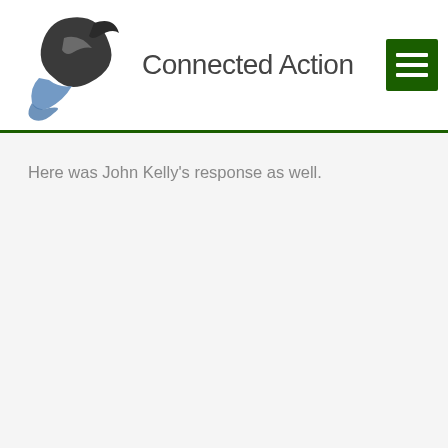[Figure (logo): Connected Action logo: stylized bird/pen graphic in dark and blue tones with text 'Connected Action']
Here was John Kelly's response as well.